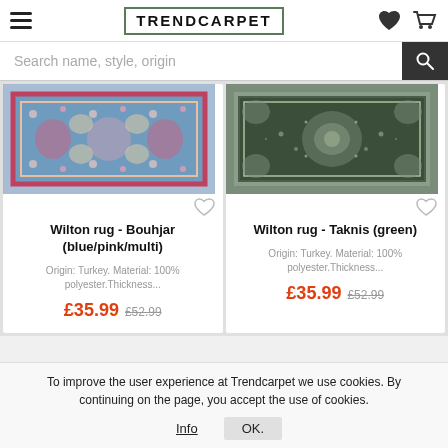TRENDCARPET
Search name, style, origin
[Figure (photo): Wilton rug - Bouhjar (blue/pink/multi) product image showing a colorful floral patterned rug]
[Figure (photo): Wilton rug - Taknis (green) product image showing a dark green floral patterned rug]
Wilton rug - Bouhjar (blue/pink/multi)
Wilton rug - Taknis (green)
Origin: Turkey. Material: 100% polyester.Thickness...
Origin: Turkey. Material: 100% polyester.Thickness...
£35.99 £52.99
£35.99 £52.99
To improve the user experience at Trendcarpet we use cookies. By continuing on the page, you accept the use of cookies.